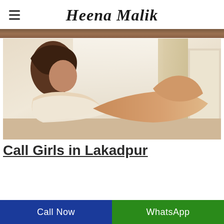Heena Malik
[Figure (photo): Partial cropped photo visible at top of page, brownish tones]
[Figure (photo): A woman in a white top reclining on a bed, photographed in a bright room with curtains]
Call Girls in Lakadpur
Call Now
WhatsApp